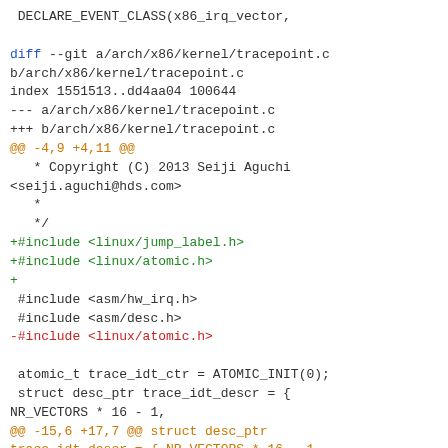DECLARE_EVENT_CLASS(x86_irq_vector,

diff --git a/arch/x86/kernel/tracepoint.c b/arch/x86/kernel/tracepoint.c
index 1551513..dd4aa04 100644
--- a/arch/x86/kernel/tracepoint.c
+++ b/arch/x86/kernel/tracepoint.c
@@ -4,9 +4,11 @@
   * Copyright (C) 2013 Seiji Aguchi <seiji.aguchi@hds.com>
   *
   */
+#include <linux/jump_label.h>
+#include <linux/atomic.h>
+
 #include <asm/hw_irq.h>
 #include <asm/desc.h>
-#include <linux/atomic.h>

 atomic_t trace_idt_ctr = ATOMIC_INIT(0);
 struct desc_ptr trace_idt_descr = { NR_VECTORS * 16 - 1,
@@ -15,6 +17,7 @@ struct desc_ptr trace_idt_descr = { NR_VECTORS * 16 - 1,
 /* No need to be aligned, but done to keep all IDTs defined the same way. */
 gate_desc trace_idt_table[NR_VECTORS] __page_aligned_bss;